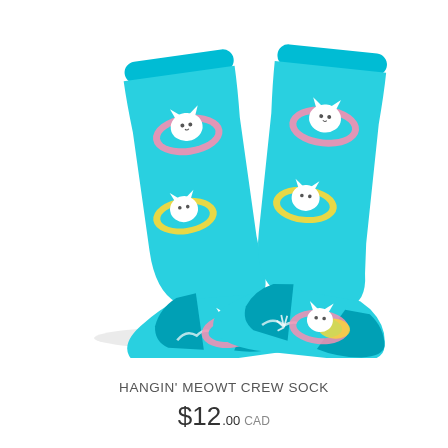[Figure (photo): A pair of bright turquoise/aqua crew socks featuring a repeating pattern of a white cat floating in colorful inner tubes (pink and yellow) on water. The socks have a darker teal heel and toe. Two socks are shown side by side, slightly angled, against a white background.]
HANGIN' MEOWT CREW SOCK
$12.00 CAD